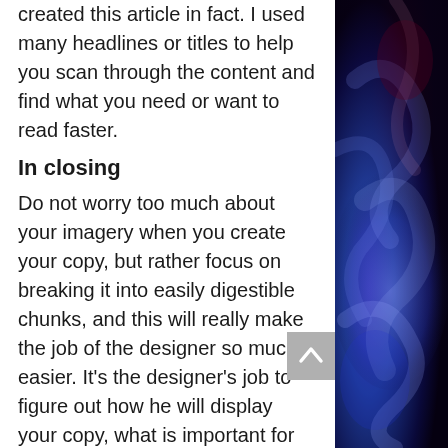created this article in fact. I used many headlines or titles to help you scan through the content and find what you need or want to read faster.
In closing
Do not worry too much about your imagery when you create your copy, but rather focus on breaking it into easily digestible chunks, and this will really make the job of the designer so much easier. It's the designer's job to figure out how he will display your copy, what is important for you, is that you actually produce some copy to use on the website. Also do not send your content to us or your designer in pieces, one at a time. If you want your website to be created much faster, you should always send all your copy
[Figure (photo): Dark abstract smoke/cloud photo with purple, blue and dark red tones, occupying the right side of the page.]